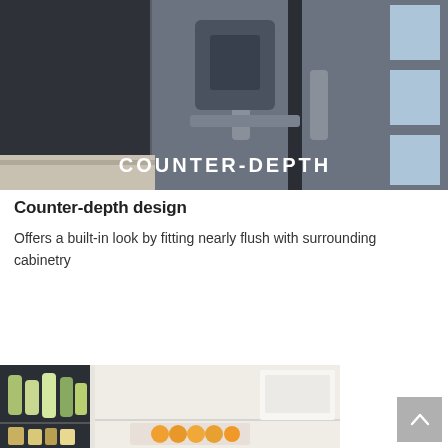[Figure (photo): Close-up photo of a stainless steel French door refrigerator with text overlay reading COUNTER-DEPTH in white capital letters]
Counter-depth design
Offers a built-in look by fitting nearly flush with surrounding cabinetry
Watch Video
[Figure (photo): Interior of a refrigerator showing bottles, jars and fruits on shelves, partially visible]